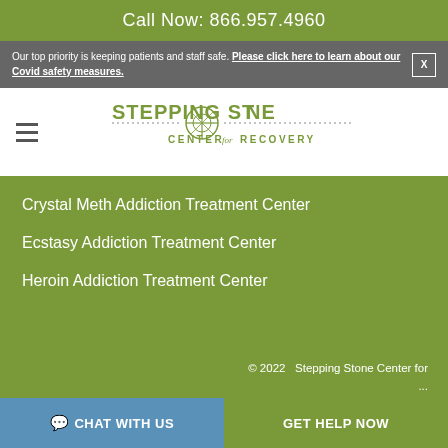Call Now: 866.957.4960
Our top priority is keeping patients and staff safe. Please click here to learn about our Covid safety measures.
[Figure (logo): Stepping Stone Center for Recovery logo with compass rose emblem]
Crystal Meth Addiction Treatment Center
Ecstasy Addiction Treatment Center
Heroin Addiction Treatment Center
© 2022  Stepping Stone Center for ...
CHAT WITH US   GET HELP NOW